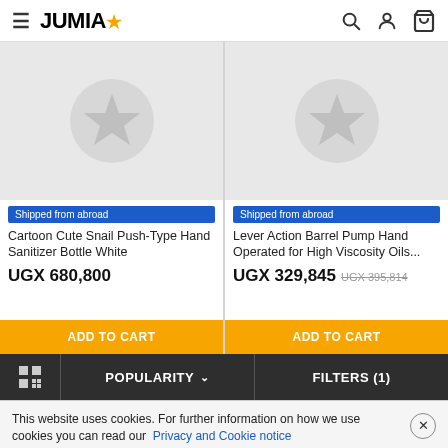JUMIA
[Figure (screenshot): Product listing page showing two items: Cartoon Cute Snail Push-Type Hand Sanitizer Bottle White at UGX 680,800 and Lever Action Barrel Pump Hand Operated for High Viscosity Oils at UGX 329,845 (original UGX 395,814). Both have 'Shipped from abroad' badge and ADD TO CART buttons.]
Shipped from abroad
Cartoon Cute Snail Push-Type Hand Sanitizer Bottle White
UGX 680,800
Shipped from abroad
Lever Action Barrel Pump Hand Operated for High Viscosity Oils...
UGX 329,845 UGX 395,814
POPULARITY
FILTERS (1)
This website uses cookies. For further information on how we use cookies you can read our Privacy and Cookie notice